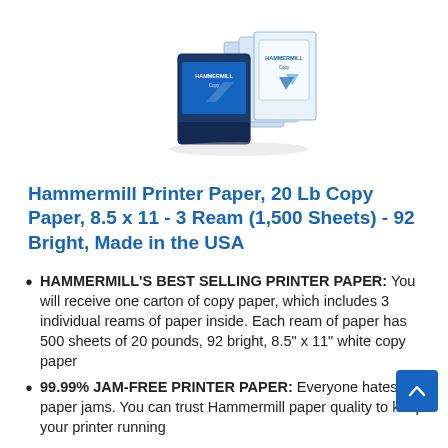[Figure (photo): Product photo of Hammermill Printer Paper carton with 3 reams, showing blue and white packaging]
Hammermill Printer Paper, 20 Lb Copy Paper, 8.5 x 11 - 3 Ream (1,500 Sheets) - 92 Bright, Made in the USA
HAMMERMILL'S BEST SELLING PRINTER PAPER: You will receive one carton of copy paper, which includes 3 individual reams of paper inside. Each ream of paper has 500 sheets of 20 pounds, 92 bright, 8.5" x 11" white copy paper
99.99% JAM-FREE PRINTER PAPER: Everyone hates paper jams. You can trust Hammermill paper quality to keep your printer running